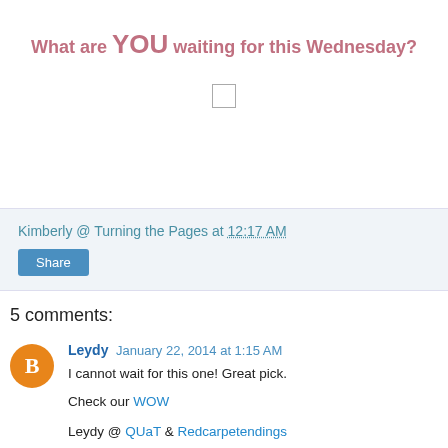What are YOU waiting for this Wednesday?
[Figure (other): Small image placeholder/broken image icon]
Kimberly @ Turning the Pages at 12:17 AM
Share
5 comments:
Leydy  January 22, 2014 at 1:15 AM
I cannot wait for this one! Great pick.
Check our WOW
Leydy @ QUaT & Redcarpetendings